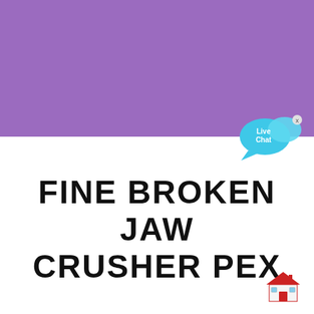[Figure (illustration): Purple/violet banner filling the top portion of the page]
FINE BROKEN JAW CRUSHER PEX
[Figure (illustration): Live Chat speech bubble icon with text 'Live Chat' in cyan/blue, with a small x close button]
[Figure (illustration): Red house/building emoji icon in the bottom right corner]